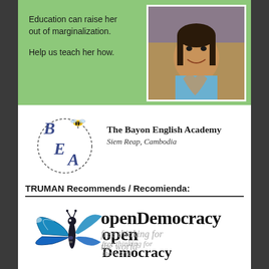[Figure (photo): Green banner with text and photo of smiling girl making heart shape with hands]
Education can raise her out of marginalization.

Help us teach her how.
[Figure (logo): BEA (Bayon English Academy) circular logo with bee illustration and letters B, E, A]
The Bayon English Academy
Siem Reap, Cambodia
TRUMAN Recommends / Recomienda:
[Figure (logo): openDemocracy logo with blue butterfly and text 'openDemocracy free thinking for the world']